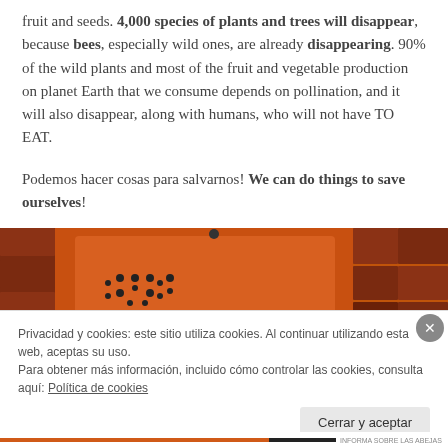fruit and seeds. 4,000 species of plants and trees will disappear, because bees, especially wild ones, are already disappearing. 90% of the wild plants and most of the fruit and vegetable production on planet Earth that we consume depends on pollination, and it will also disappear, along with humans, who will not have TO EAT.
Podemos hacer cosas para salvarnos! We can do things to save ourselves!
[Figure (photo): Photo of an orange wooden bee hotel / insect house mounted on a brick wall with red/brown bricks visible on the sides]
Privacidad y cookies: este sitio utiliza cookies. Al continuar utilizando esta web, aceptas su uso.
Para obtener más información, incluido cómo controlar las cookies, consulta aquí: Política de cookies